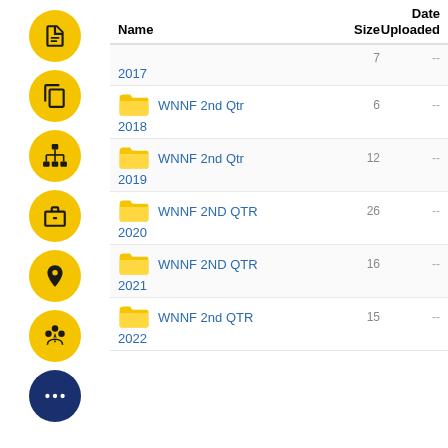[Figure (screenshot): Sidebar navigation with yellow circular icon buttons and one dark blue icon button with ellipsis]
| Name | Size | Date Uploaded |
| --- | --- | --- |
| (partial row) | 7 | -- |
| WNNF 2nd Qtr 2018 | 6 | -- |
| WNNF 2nd Qtr 2019 | 12 | -- |
| WNNF 2ND QTR 2020 | 26 | -- |
| WNNF 2ND QTR 2021 | 16 | -- |
| WNNF 2nd QTR 2022 | 15 | -- |